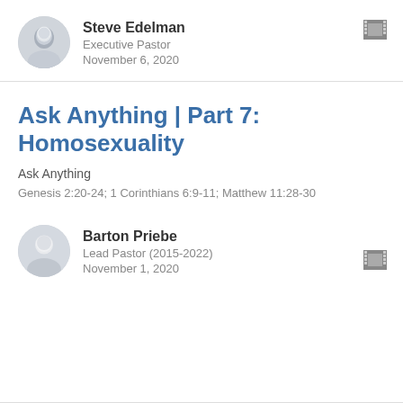Steve Edelman
Executive Pastor
November 6, 2020
Ask Anything | Part 7: Homosexuality
Ask Anything
Genesis 2:20-24; 1 Corinthians 6:9-11; Matthew 11:28-30
Barton Priebe
Lead Pastor (2015-2022)
November 1, 2020